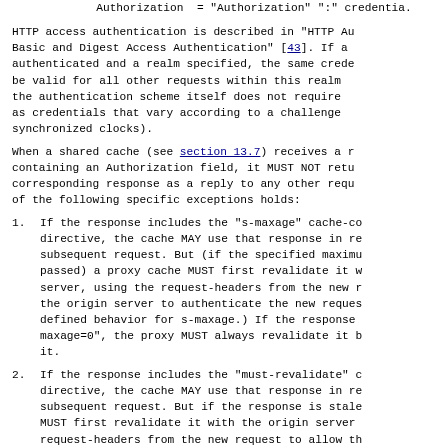HTTP access authentication is described in "HTTP Authentication: Basic and Digest Access Authentication" [43]. If a request is authenticated and a realm specified, the same credentials SHOULD be valid for all other requests within this realm (assuming that the authentication scheme itself does not require otherwise, such as credentials that vary according to a challenge value or using synchronized clocks).
When a shared cache (see section 13.7) receives a request containing an Authorization field, it MUST NOT return the corresponding response as a reply to any other request, unless one of the following specific exceptions holds:
If the response includes the "s-maxage" cache-control directive, the cache MAY use that response in reply to a subsequent request. But (if the specified maximum age has passed) a proxy cache MUST first revalidate it with the origin server, using the request-headers from the new request to allow the origin server to authenticate the new request. (This is the defined behavior for s-maxage.) If the response includes "s-maxage=0", the proxy MUST always revalidate it before re-using it.
If the response includes the "must-revalidate" cache-control directive, the cache MAY use that response in reply to a subsequent request. But if the response is stale, all caches MUST first revalidate it with the origin server, using the request-headers from the new request to allow the